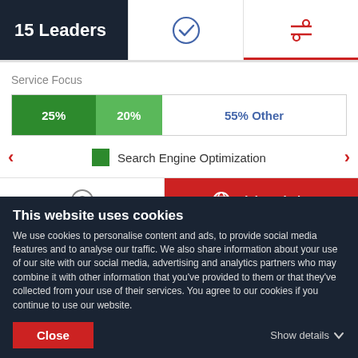15 Leaders
[Figure (screenshot): Two tab icons: a checkmark icon and a settings/filter icon (active, with red underline)]
Service Focus
[Figure (stacked-bar-chart): Service Focus]
Search Engine Optimization
[Figure (screenshot): Review icon (circular C logo) and Visit Website button in red]
This website uses cookies
We use cookies to personalise content and ads, to provide social media features and to analyse our traffic. We also share information about your use of our site with our social media, advertising and analytics partners who may combine it with other information that you've provided to them or that they've collected from your use of their services. You agree to our cookies if you continue to use our website.
Close
Show details